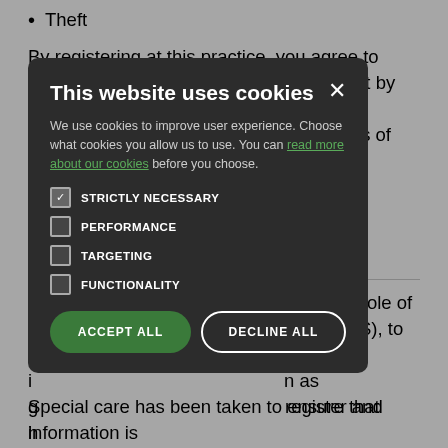Theft
By registering at this practice, you agree to behave appropriately and understand that by performing any of the above you will be removed from the practice list, and details of the incident will be passed on to the Kent
[Figure (screenshot): Cookie consent modal overlay with dark background. Title: 'This website uses cookies'. Body text: 'We use cookies to improve user experience. Choose what cookies you allow us to use. You can read more about our cookies before you choose.' Checkboxes: STRICTLY NECESSARY (checked), PERFORMANCE (unchecked), TARGETING (unchecked), FUNCTIONALITY (unchecked). Buttons: ACCEPT ALL (green), DECLINE ALL (outlined).]
Special care has been taken to ensure that information is